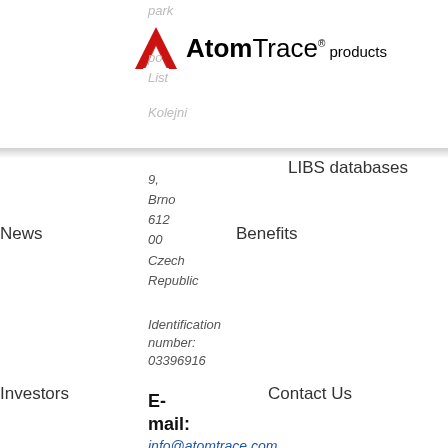[Figure (logo): AtomTrace logo with red triangular chevron icon and text 'AtomTrace® products']
park
po
List
Kolejni
LIBS databases
9,
Brno
612
00
Czech Republic
News
Benefits
Identification number:
03396916
Investors
Contact Us
E-mail:
info@atomtrace.com